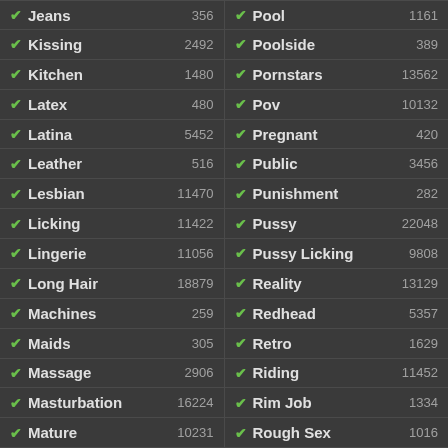| Category | Count | Category | Count |
| --- | --- | --- | --- |
| Jeans | 356 | Pool | 1161 |
| Kissing | 2492 | Poolside | 389 |
| Kitchen | 1480 | Pornstars | 13562 |
| Latex | 480 | Pov | 10132 |
| Latina | 5452 | Pregnant | 420 |
| Leather | 516 | Public | 3456 |
| Lesbian | 11470 | Punishment | 282 |
| Licking | 11422 | Pussy | 22048 |
| Lingerie | 11056 | Pussy Licking | 9808 |
| Long Hair | 18879 | Reality | 13129 |
| Machines | 259 | Redhead | 5357 |
| Maids | 305 | Retro | 1629 |
| Massage | 2906 | Riding | 11452 |
| Masturbation | 16224 | Rim Job | 1334 |
| Mature | 10231 | Rough Sex | 1016 |